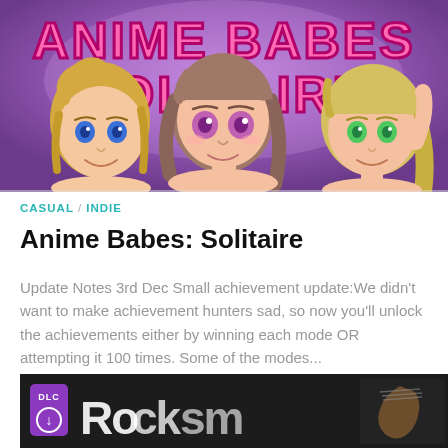[Figure (illustration): Anime Babes Solitaire game banner with purple/pink gradient background, large pink bubble-letter title text 'ANIME BABES' and 'SOLITAIRE', and three anime-style female characters illustrated in manga style.]
CASUAL / INDIE
Anime Babes: Solitaire
Update Notes 3rd Dec Small achievement update:We didn't want to make achievement hunters sad, so now you'll unlock the achievements either by winning each mode OR attempting it 100 times. Some of the modes...
[Figure (screenshot): Bottom partial image showing a DLC badge with purple background and download arrow icon, and white stylized logo text on dark background with guitar visible on right.]